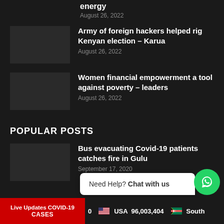energy
August 26, 2022
Army of foreign hackers helped rig Kenyan election – Karua
August 26, 2022
Women financial empowerment a tool against poverty – leaders
August 26, 2022
POPULAR POSTS
Bus evacuating Covid-19 patients catches fire in Gulu
September 17, 2020
Live Updates COVID-19 CASES | USA 96,003,404 | South